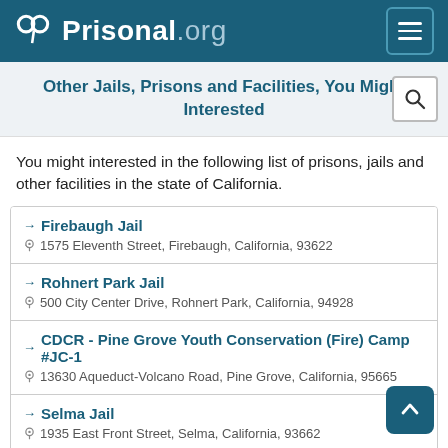Prisonal.org
Other Jails, Prisons and Facilities, You Might Interested
You might interested in the following list of prisons, jails and other facilities in the state of California.
→ Firebaugh Jail
📍 1575 Eleventh Street, Firebaugh, California, 93622
→ Rohnert Park Jail
📍 500 City Center Drive, Rohnert Park, California, 94928
→ CDCR - Pine Grove Youth Conservation (Fire) Camp #JC-1
📍 13630 Aqueduct-Volcano Road, Pine Grove, California, 95665
→ Selma Jail
📍 1935 East Front Street, Selma, California, 93662